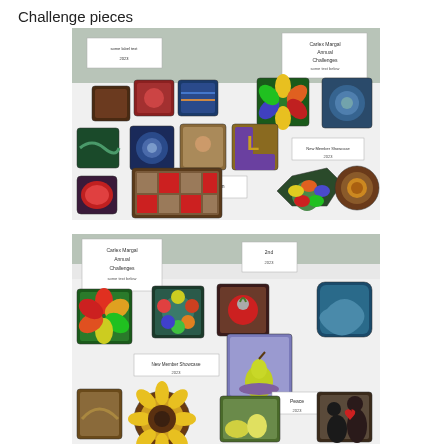Challenge pieces
[Figure (photo): A display table covered with a white tablecloth showing numerous small hooked rug / textile art pieces (challenge pieces) in various colorful geometric and floral designs, with small label cards. A sign reading 'Carlex Margal Annual Challenges' is visible in the upper right.]
[Figure (photo): A second display table with white tablecloth showing more colorful hooked rug / textile challenge pieces including floral, geometric, and figurative designs, with small label cards. A sign reading 'Carlex Margal Annual Challenges' is visible at top left.]